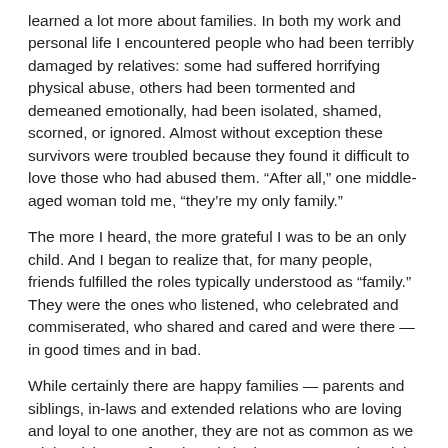learned a lot more about families. In both my work and personal life I encountered people who had been terribly damaged by relatives: some had suffered horrifying physical abuse, others had been tormented and demeaned emotionally, had been isolated, shamed, scorned, or ignored. Almost without exception these survivors were troubled because they found it difficult to love those who had abused them. “After all,” one middle-aged woman told me, “they’re my only family.”
The more I heard, the more grateful I was to be an only child. And I began to realize that, for many people, friends fulfilled the roles typically understood as “family.” They were the ones who listened, who celebrated and commiserated, who shared and cared and were there — in good times and in bad.
While certainly there are happy families — parents and siblings, in-laws and extended relations who are loving and loyal to one another, they are not as common as we might wish. Too often there is jealousy, envy and outright hatred — and a large percentage of just plain crazy.
We may laugh at our eccentric uncles, joke about the spinster aunties, but the issue of unrecognized or blatantly ignored mental